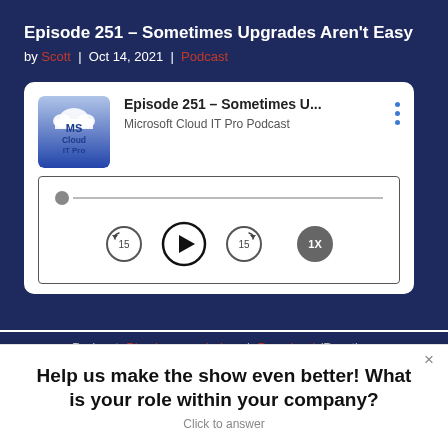Episode 251 – Sometimes Upgrades Aren't Easy
by Scott | Oct 14, 2021 | Podcast
[Figure (screenshot): Podcast player widget for 'Episode 251 – Sometimes U...' from Microsoft Cloud IT Pro Podcast, showing a progress bar and playback controls including rewind 15s, play, forward 15s, and 1x speed button.]
Podcast: Play in new window | Download (Duration:
Help us make the show even better! What is your role within your company?
Click to answer